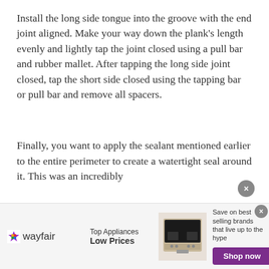Install the long side tongue into the groove with the end joint aligned. Make your way down the plank’s length evenly and lightly tap the joint closed using a pull bar and rubber mallet. After tapping the long side joint closed, tap the short side closed using the tapping bar or pull bar and remove all spacers.
Finally, you want to apply the sealant mentioned earlier to the entire perimeter to create a watertight seal around it. This was an incredibly
[Figure (other): Wayfair advertisement banner showing logo, Top Appliances Low Prices text, image of a stove/range appliance, and Save on best selling brands that live up to the hype with Shop now button]